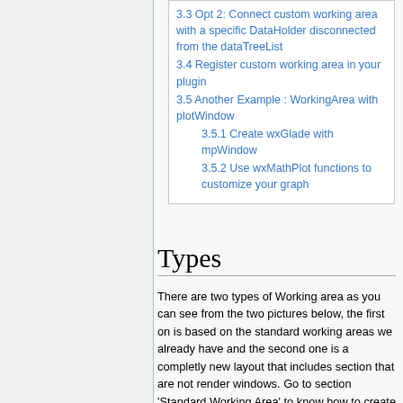3.3 Opt 2: Connect custom working area with a specific DataHolder disconnected from the dataTreeList
3.4 Register custom working area in your plugin
3.5 Another Example : WorkingArea with plotWindow
3.5.1 Create wxGlade with mpWindow
3.5.2 Use wxMathPlot functions to customize your graph
Types
There are two types of Working area as you can see from the two pictures below, the first on is based on the standard working areas we already have and the second one is a completly new layout that includes section that are not render windows. Go to section 'Standard Working Area' to know how to create and set the first one and 'Customized